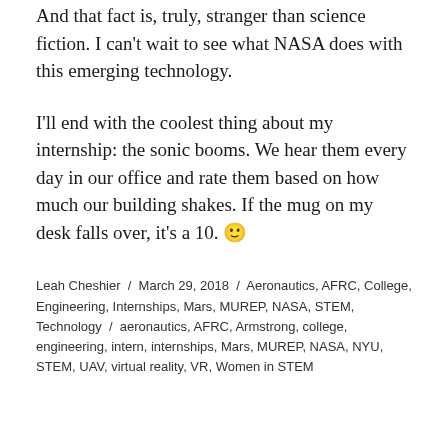And that fact is, truly, stranger than science fiction. I can't wait to see what NASA does with this emerging technology.
I'll end with the coolest thing about my internship: the sonic booms. We hear them every day in our office and rate them based on how much our building shakes. If the mug on my desk falls over, it's a 10. 🙂
Leah Cheshier / March 29, 2018 / Aeronautics, AFRC, College, Engineering, Internships, Mars, MUREP, NASA, STEM, Technology / aeronautics, AFRC, Armstrong, college, engineering, intern, internships, Mars, MUREP, NASA, NYU, STEM, UAV, virtual reality, VR, Women in STEM